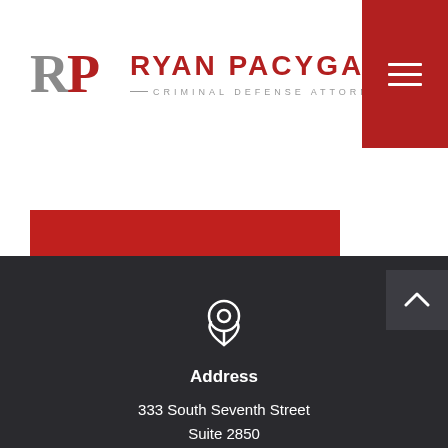[Figure (logo): Ryan Pacyga Criminal Defense Attorney logo with RP monogram in gray and red, vertical divider, name in red and tagline in gray]
SEND YOUR MESSAGE
[Figure (infographic): Location pin icon in white outline on dark background]
Address
333 South Seventh Street Suite 2850